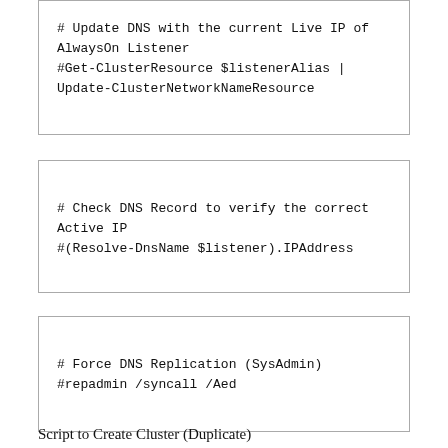# Update DNS with the current Live IP of AlwaysOn Listener
#Get-ClusterResource $listenerAlias | Update-ClusterNetworkNameResource
# Check DNS Record to verify the correct Active IP
#(Resolve-DnsName $listener).IPAddress
# Force DNS Replication (SysAdmin)
#repadmin /syncall /Aed
Script to Create Cluster (Duplicate)